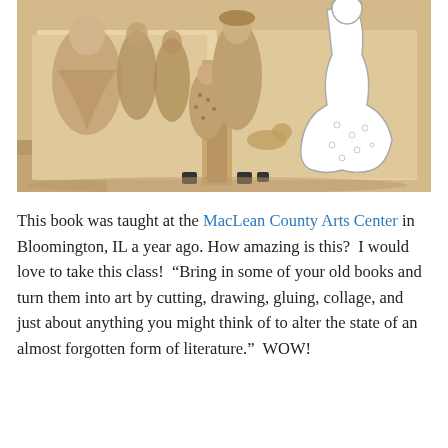[Figure (photo): A book sculpture photograph showing an open book with Victorian-era figures, dolls, and characters cut out and standing upright from the pages in a sepia/warm tone, with a white outline figure of a woman in a dress on the right side.]
This book was taught at the MacLean County Arts Center in Bloomington, IL a year ago. How amazing is this?  I would love to take this class!  “Bring in some of your old books and turn them into art by cutting, drawing, gluing, collage, and just about anything you might think of to alter the state of an almost forgotten form of literature.”  WOW!